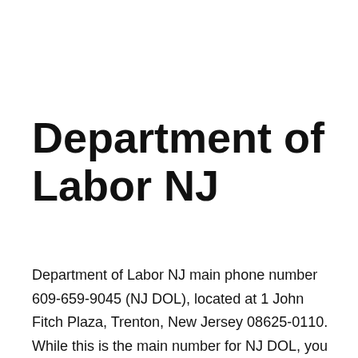Department of Labor NJ
Department of Labor NJ main phone number 609-659-9045 (NJ DOL), located at 1 John Fitch Plaza, Trenton, New Jersey 08625-0110. While this is the main number for NJ DOL, you are advised to look at the following phone numbers directory to get to the right person: